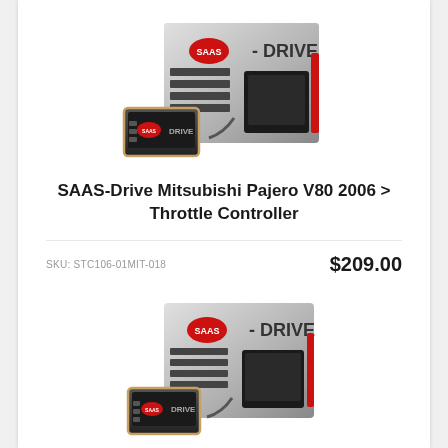[Figure (photo): SAAS-Drive throttle controller product photo showing device and retail box (top image)]
SAAS-Drive Mitsubishi Pajero V80 2006 > Throttle Controller
SKU: STC106-01MIT-018
$209.00
[Figure (photo): SAAS-Drive throttle controller product photo showing device and retail box (bottom image)]